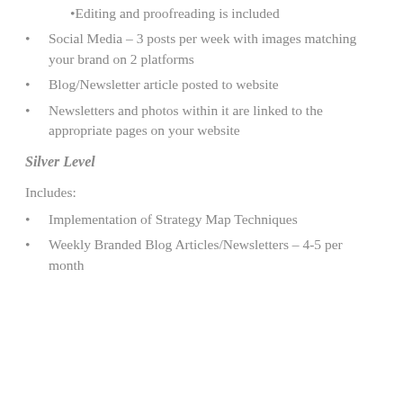Editing and proofreading is included
Social Media – 3 posts per week with images matching your brand on 2 platforms
Blog/Newsletter article posted to website
Newsletters and photos within it are linked to the appropriate pages on your website
Silver Level
Includes:
Implementation of Strategy Map Techniques
Weekly Branded Blog Articles/Newsletters – 4-5 per month